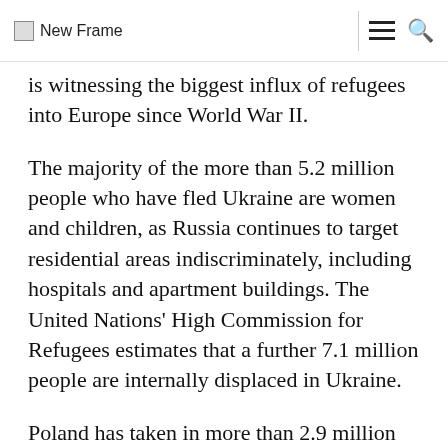New Frame
is witnessing the biggest influx of refugees into Europe since World War II.
The majority of the more than 5.2 million people who have fled Ukraine are women and children, as Russia continues to target residential areas indiscriminately, including hospitals and apartment buildings. The United Nations' High Commission for Refugees estimates that a further 7.1 million people are internally displaced in Ukraine.
Poland has taken in more than 2.9 million